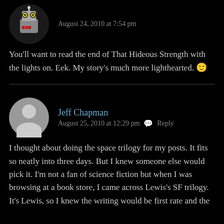[Figure (illustration): Robot avatar icon, circular crop, black background with yellow-eyed robot illustration]
August 24, 2010 at 7:54 pm
You’ll want to read the end of That Hideous Strength with the lights on. Eek. My story’s much more lighthearted. 🙂
[Figure (illustration): Blank grey avatar silhouette, circular]
Jeff Chapman
August 25, 2010 at 12:29 pm  Reply
I thought about doing the space trilogy for my posts. It fits so neatly into three days. But I knew someone else would pick it. I’m not a fan of science fiction but when I was browsing at a book store, I came across Lewis’s SF trilogy. It’s Lewis, so I knew the writing would be first rate and the